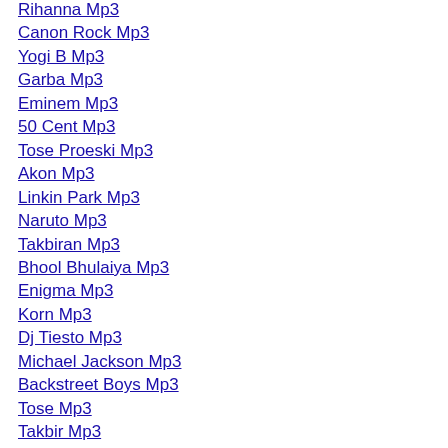Rihanna Mp3
Canon Rock Mp3
Yogi B Mp3
Garba Mp3
Eminem Mp3
50 Cent Mp3
Tose Proeski Mp3
Akon Mp3
Linkin Park Mp3
Naruto Mp3
Takbiran Mp3
Bhool Bhulaiya Mp3
Enigma Mp3
Korn Mp3
Dj Tiesto Mp3
Michael Jackson Mp3
Backstreet Boys Mp3
Tose Mp3
Takbir Mp3
Remix Mp3
Mahalaya Mp3
Beyonce Mp3
Narender Chanchal Mp3
Godfather Mp3
Numa Numa Mp3
Halo Mp3